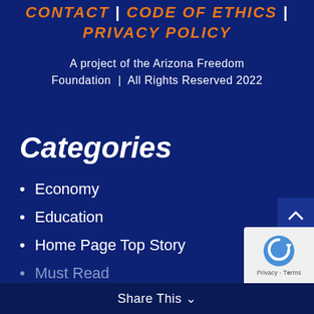CONTACT | CODE OF ETHICS | PRIVACY POLICY
A project of the Arizona Freedom Foundation | All Rights Reserved 2022
Categories
Economy
Education
Home Page Top Story
Must Read
Share This